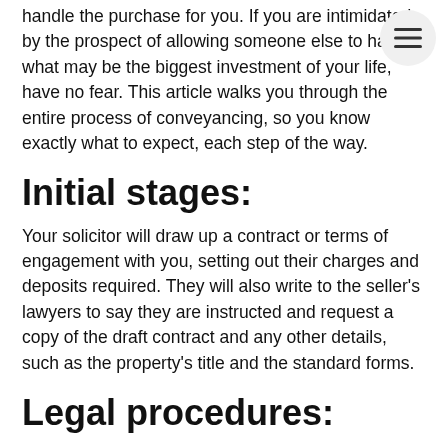handle the purchase for you. If you are intimidated by the prospect of allowing someone else to handle what may be the biggest investment of your life, have no fear. This article walks you through the entire process of conveyancing, so you know exactly what to expect, each step of the way.
Initial stages:
Your solicitor will draw up a contract or terms of engagement with you, setting out their charges and deposits required. They will also write to the seller's lawyers to say they are instructed and request a copy of the draft contract and any other details, such as the property's title and the standard forms.
Legal procedures:
Your conveyancer or solicitor will go over the draft contract and discuss it with you. Let the solicitor know if you have any queries or concerns. He or she will also conduct property